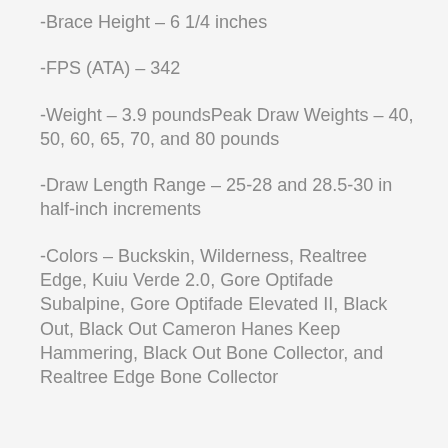-Brace Height – 6 1/4 inches
-FPS (ATA) – 342
-Weight – 3.9 poundsPeak Draw Weights – 40, 50, 60, 65, 70, and 80 pounds
-Draw Length Range – 25-28 and 28.5-30 in half-inch increments
-Colors – Buckskin, Wilderness, Realtree Edge, Kuiu Verde 2.0, Gore Optifade Subalpine, Gore Optifade Elevated II, Black Out, Black Out Cameron Hanes Keep Hammering, Black Out Bone Collector, and Realtree Edge Bone Collector